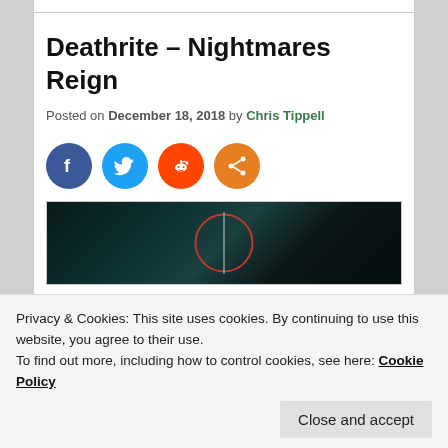Deathrite – Nightmares Reign
Posted on December 18, 2018 by Chris Tippell
[Figure (infographic): Four social media share buttons: Facebook (blue circle), Twitter (light blue circle), Reddit (orange-red circle), Share (orange circle)]
[Figure (photo): Dark album artwork with dark teal/black tones, a partial red circle arc visible in the center]
Privacy & Cookies: This site uses cookies. By continuing to use this website, you agree to their use.
To find out more, including how to control cookies, see here: Cookie Policy